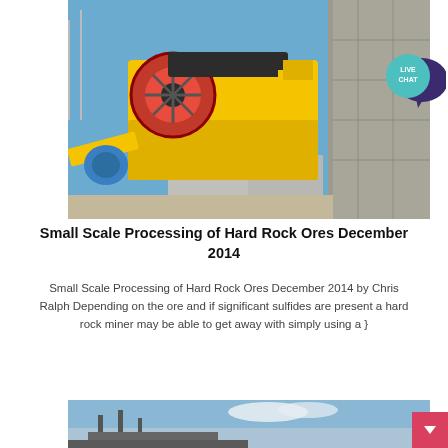[Figure (photo): Yellow jaw crusher machine outdoors, mounted on concrete blocks with stone wall behind and blue sky above.]
[Figure (infographic): Live Chat speech bubble badge in teal and dark purple colors with text LIVE CHAT.]
Small Scale Processing of Hard Rock Ores December 2014
Small Scale Processing of Hard Rock Ores December 2014 by Chris Ralph Depending on the ore and if significant sulfides are present a hard rock miner may be able to get away with simply using a }
[Figure (photo): Partial view of a ship or port facility under a blue sky with clouds.]